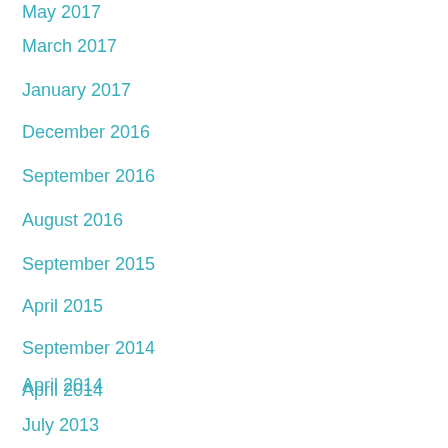May 2017
March 2017
January 2017
December 2016
September 2016
August 2016
September 2015
April 2015
September 2014
April 2014
July 2013
TAGS